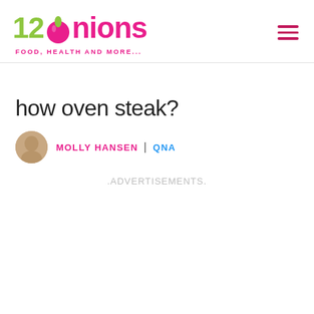[Figure (logo): 12Onions logo with green '12', pink onion icon, pink 'onions' text, and tagline 'FOOD, HEALTH AND MORE...']
how oven steak?
MOLLY HANSEN | QNA
.ADVERTISEMENTS.